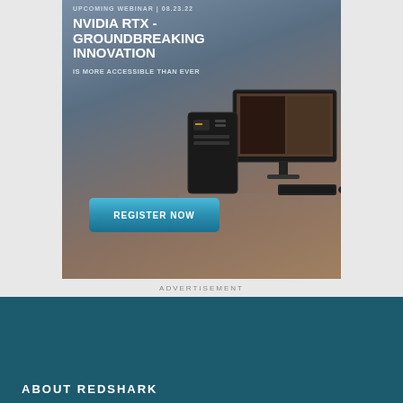[Figure (infographic): NVIDIA RTX webinar advertisement banner with gradient background (blue-gray to warm brown), showing text 'UPCOMING WEBINAR | 08.23.22', title 'NVIDIA RTX - GROUNDBREAKING INNOVATION', subtitle 'IS MORE ACCESSIBLE THAN EVER', a workstation PC tower and monitor displaying photo editing software, and a teal 'REGISTER NOW' button.]
ADVERTISEMENT
ABOUT REDSHARK